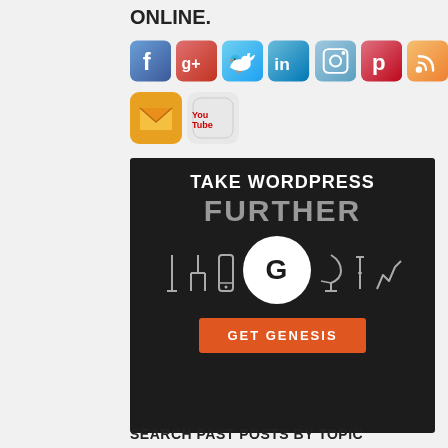ONLINE.
[Figure (illustration): Row of social media icons: Facebook, Google+, Twitter, LinkedIn, Instagram, Pinterest, RSS, Email, YouTube]
[Figure (infographic): Take WordPress Further - Get Genesis banner with dark background, large G logo circle, tool icons, and orange GET GENESIS button]
SEARCH PAST POSTS BY TOPIC